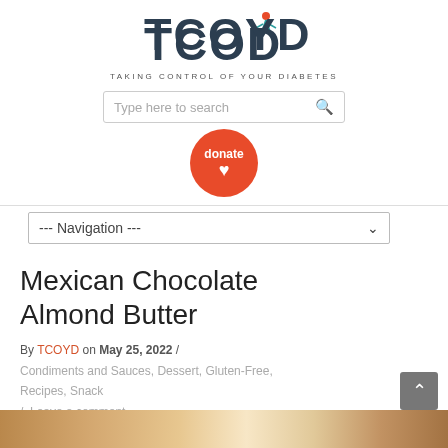[Figure (logo): TCOYD logo — Taking Control of Your Diabetes — with stylized figure and teal/red accent colors]
Type here to search
[Figure (illustration): Orange circular donate button with heart icon]
--- Navigation ---
Mexican Chocolate Almond Butter
By TCOYD on May 25, 2022 / Condiments and Sauces, Dessert, Gluten-Free, Recipes, Snack / Leave a comment
[Figure (photo): Partial photo of almond butter or chocolate food item at bottom of page]